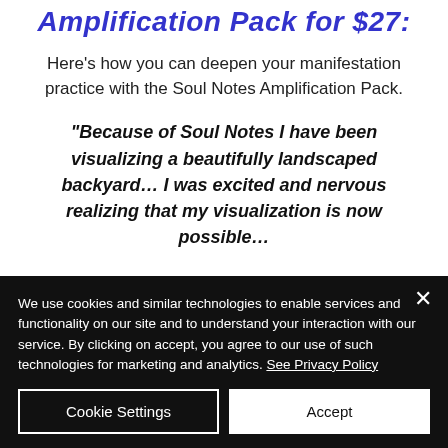Amplification Pack for $27:
Here's how you can deepen your manifestation practice with the Soul Notes Amplification Pack.
“Because of Soul Notes I have been visualizing a beautifully landscaped backyard… I was excited and nervous realizing that my visualization is now possible…
We use cookies and similar technologies to enable services and functionality on our site and to understand your interaction with our service. By clicking on accept, you agree to our use of such technologies for marketing and analytics. See Privacy Policy